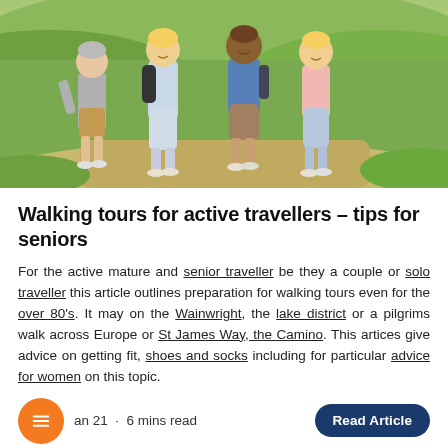[Figure (photo): Four adults (two men and two women, appearing to be seniors) walking together outdoors on a path through green fields on a sunny day.]
Walking tours for active travellers – tips for seniors
For the active mature and senior traveller be they a couple or solo traveller this article outlines preparation for walking tours even for the over 80's. It may on the Wainwright, the lake district or a pilgrims walk across Europe or St James Way, the Camino. This artices give advice on getting fit, shoes and socks including for particular advice for women on this topic.
an 21  ·  6 mins read
Read Article